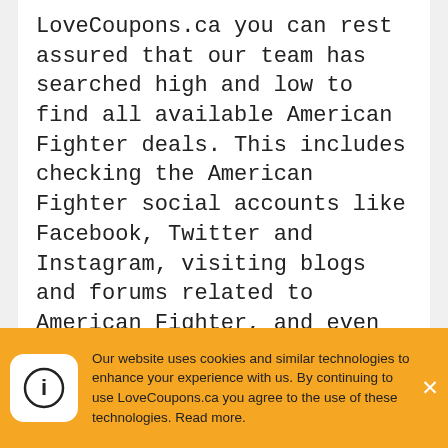LoveCoupons.ca you can rest assured that our team has searched high and low to find all available American Fighter deals. This includes checking the American Fighter social accounts like Facebook, Twitter and Instagram, visiting blogs and forums related to American Fighter, and even checking other top deal sites for the latest American Fighter coupon codes.
When shopping online for American Fighter, it is a good idea to always visit us here at LoveCoupons.ca before you finish your order. The LoveCoupons.ca team save our visitors thousands of dollars every month, many of which never knew American Fighter discount
Our website uses cookies and similar technologies to enhance your experience with us. By continuing to use LoveCoupons.ca you agree to the use of these technologies. Read more.